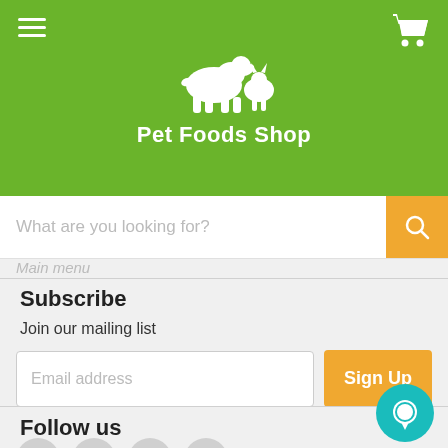[Figure (logo): Pet Foods Shop logo with dog and cat silhouette on green background]
Pet Foods Shop
What are you looking for?
Main menu
Subscribe
Join our mailing list
Email address
Sign Up
Follow us